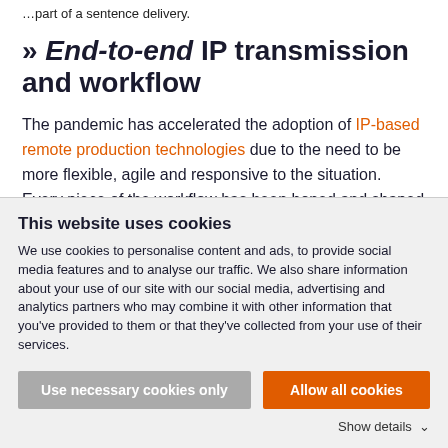…part of a sentence delivery.
» End-to-end IP transmission and workflow
The pandemic has accelerated the adoption of IP-based remote production technologies due to the need to be more flexible, agile and responsive to the situation. Every piece of the workflow has been honed and shaped to the degree that any network-
This website uses cookies
We use cookies to personalise content and ads, to provide social media features and to analyse our traffic. We also share information about your use of our site with our social media, advertising and analytics partners who may combine it with other information that you've provided to them or that they've collected from your use of their services.
Use necessary cookies only
Allow all cookies
Show details